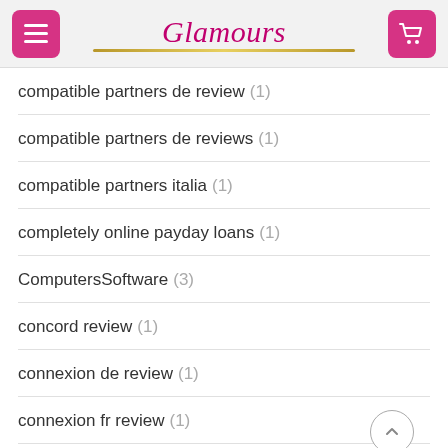Glamours
compatible partners de review (1)
compatible partners de reviews (1)
compatible partners italia (1)
completely online payday loans (1)
ComputersSoftware (3)
concord review (1)
connexion de review (1)
connexion fr review (1)
coral-springs dating (1)
coral-springs review (1)